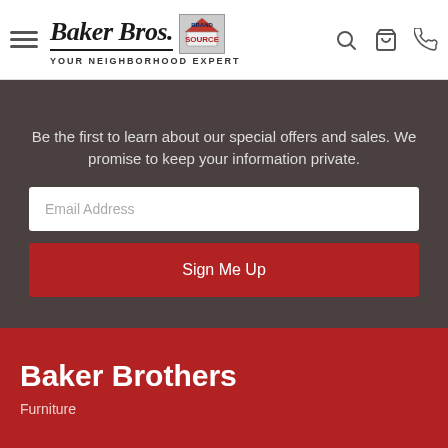Baker Bros. Your Neighborhood Expert
Be the first to learn about our special offers and sales. We promise to keep your information private.
Email Address
Sign Me Up
Baker Brothers
Furniture